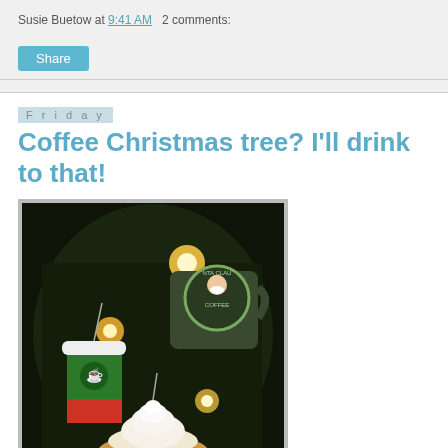Susie Buetow at 9:41 AM   2 comments:
Share
Friday
Coffee Christmas tree? I'll drink to that!
[Figure (photo): Photo of a Christmas tree decorated with coffee-themed ornaments including a Santa Claus Coffee mug ornament, a green and red Starbucks-style cup ornament, and a whipped cream topped drink ornament, with warm fairy lights in the background.]